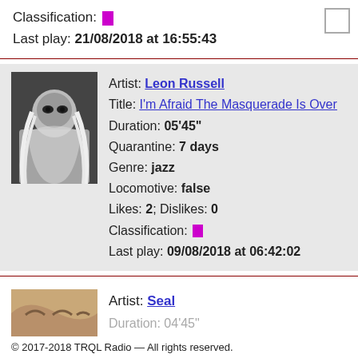Classification: [magenta box]
Last play: 21/08/2018 at 16:55:43
[Figure (photo): Black and white photo of Leon Russell with long white hair and sunglasses]
Artist: Leon Russell
Title: I'm Afraid The Masquerade Is Over
Duration: 05'45"
Quarantine: 7 days
Genre: jazz
Locomotive: false
Likes: 2; Dislikes: 0
Classification: [magenta box]
Last play: 09/08/2018 at 06:42:02
[Figure (photo): Partial photo of Seal album art]
Artist: Seal
© 2017-2018 TRQL Radio — All rights reserved.